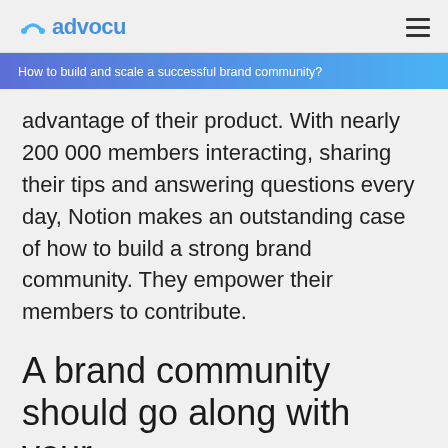advocu
How to build and scale a successful brand community?
advantage of their product. With nearly 200 000 members interacting, sharing their tips and answering questions every day, Notion makes an outstanding case of how to build a strong brand community. They empower their members to contribute.
A brand community should go along with your